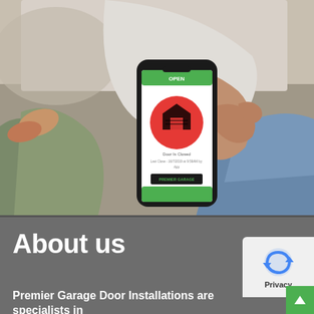[Figure (photo): A person sitting on a couch holding a smartphone showing a garage door control app with a green interface and a red circular button with a house/garage icon. The person is pointing at the phone screen.]
About us
Premier Garage Door Installations are specialists in